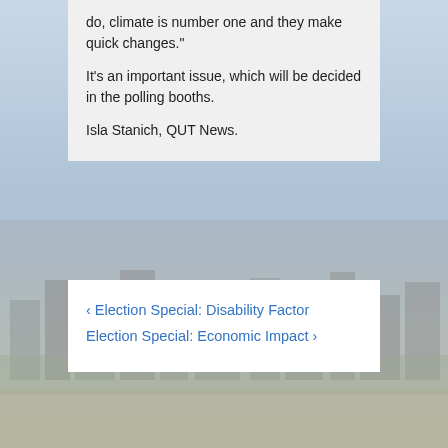do, climate is number one and they make quick changes."

It's an important issue, which will be decided in the polling booths.

Isla Stanich, QUT News.
[Figure (photo): Aerial city photograph with hazy blue sky and urban buildings in the background]
‹ Election Special: Disability Factor
Election Special: Economic Impact ›